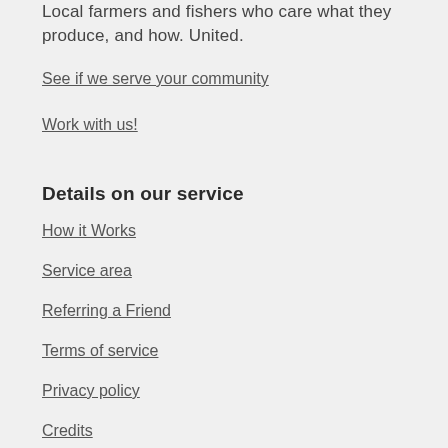Local farmers and fishers who care what they produce, and how. United.
See if we serve your community
Work with us!
Details on our service
How it Works
Service area
Referring a Friend
Terms of service
Privacy policy
Credits